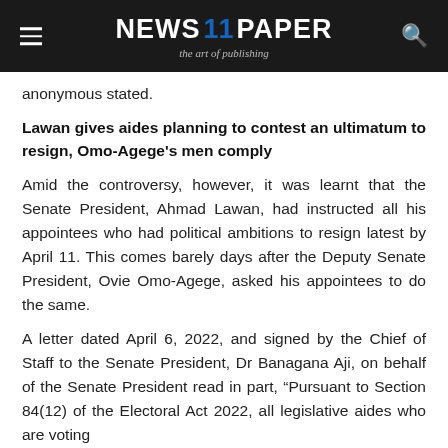NEWS 11 PAPER — the art of publishing
anonymous stated.
Lawan gives aides planning to contest an ultimatum to resign, Omo-Agege's men comply
Amid the controversy, however, it was learnt that the Senate President, Ahmad Lawan, had instructed all his appointees who had political ambitions to resign latest by April 11. This comes barely days after the Deputy Senate President, Ovie Omo-Agege, asked his appointees to do the same.
A letter dated April 6, 2022, and signed by the Chief of Staff to the Senate President, Dr Banagana Aji, on behalf of the Senate President read in part, “Pursuant to Section 84(12) of the Electoral Act 2022, all legislative aides who are voting